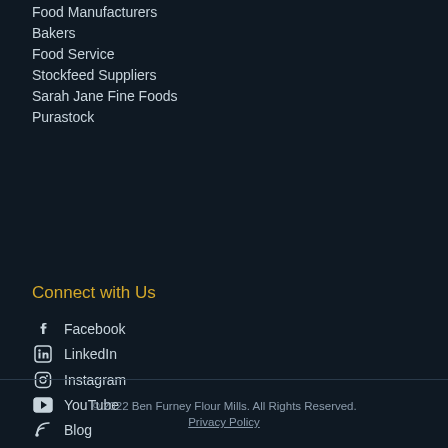Food Manufacturers
Bakers
Food Service
Stockfeed Suppliers
Sarah Jane Fine Foods
Purastock
Connect with Us
Facebook
LinkedIn
Instagram
YouTube
Blog
© 2022 Ben Furney Flour Mills. All Rights Reserved.
Privacy Policy